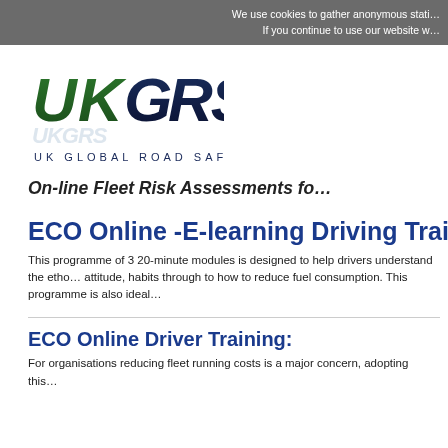We use cookies to gather anonymous stati...
If you continue to use our website w...
[Figure (logo): UKGRS - UK Global Road Safety logo with large green stylized text UKGRS and subtitle UK GLOBAL ROAD SAFETY in dark navy blue]
On-line Fleet Risk Assessments fo...
ECO Online -E-learning Driving Traini...
This programme of 3 20-minute modules is designed to help drivers understand the etho... attitude, habits through to how to reduce fuel consumption. This programme is also ideal...
ECO Online Driver Training:
For organisations reducing fleet running costs is a major concern, adopting this...